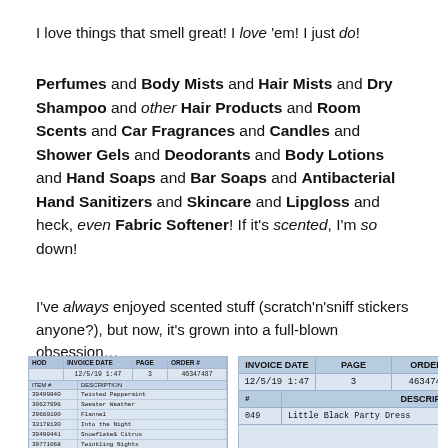I love things that smell great! I love 'em! I just do!
Perfumes and Body Mists and Hair Mists and Dry Shampoo and other Hair Products and Room Scents and Car Fragrances and Candles and Shower Gels and Deodorants and Body Lotions and Hand Soaps and Bar Soaps and Antibacterial Hand Sanitizers and Skincare and Lipgloss and heck, even Fabric Softener! If it's scented, I'm so down!
I've always enjoyed scented stuff (scratch'n'sniff stickers anyone?), but now, it's grown into a full-blown obsession...
[Figure (screenshot): Two overlapping invoice screenshots showing order details with invoice date 12/5/19 1:47, page 3, order #46347487, and item descriptions including Little Black Party Dress, Twisted Peppermint, Sweater Weather, Flannel, Into the Night, Snowflake and Citrus, Twinkling Nights, In the Storm.]